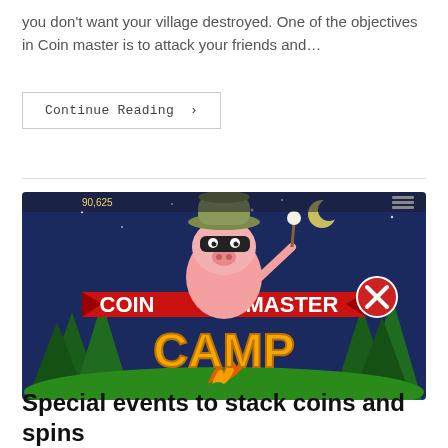you don't want your village destroyed. One of the objectives in Coin master is to attack your friends and…
Continue Reading ›
[Figure (screenshot): Coin Master Camp promotional game screenshot showing a cartoon pig character wearing a camping hat and bandit mask, roasting a marshmallow over a campfire, with red ribbon banners reading 'COIN MASTER' and 'CAMP' in large yellow letters against a night forest background.]
Special events to stack coins and spins